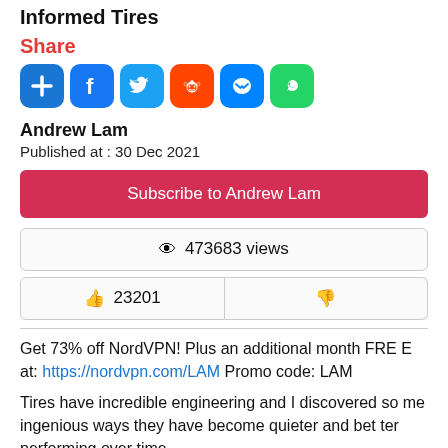Informed Tires
Share
[Figure (infographic): Social sharing icons: Add, Facebook, Twitter, Reddit, Messenger, WhatsApp]
Andrew Lam
Published at : 30 Dec 2021
Subscribe to Andrew Lam
👁 473683 views
👍 23201 | 👎
Get 73% off NordVPN! Plus an additional month FREE at: https://nordvpn.com/LAM Promo code: LAM
Tires have incredible engineering and I discovered some ingenious ways they have become quieter and better performing over time.